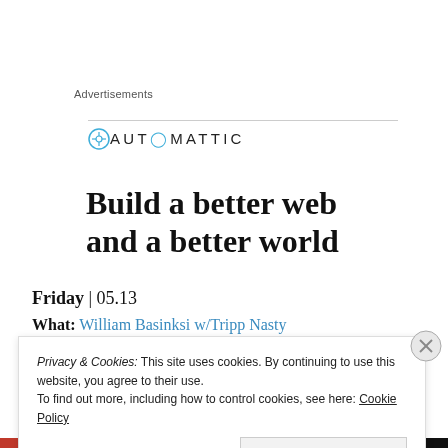Advertisements
[Figure (logo): Automattic logo with compass icon and uppercase letterspaced text 'AUTOMATTIC']
Build a better web and a better world
Friday | 05.13
What: William Basinksi w/Tripp Nasty
Privacy & Cookies: This site uses cookies. By continuing to use this website, you agree to their use.
To find out more, including how to control cookies, see here: Cookie Policy
Close and accept